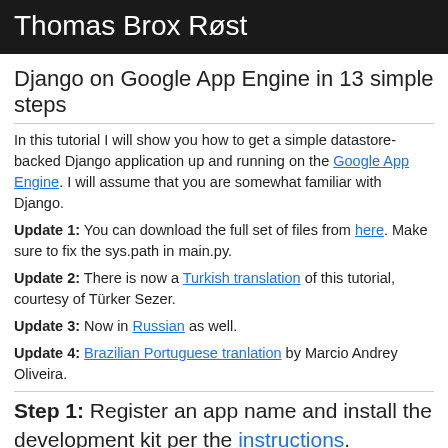Thomas Brox Røst
Django on Google App Engine in 13 simple steps
In this tutorial I will show you how to get a simple datastore-backed Django application up and running on the Google App Engine. I will assume that you are somewhat familiar with Django.
Update 1: You can download the full set of files from here. Make sure to fix the sys.path in main.py.
Update 2: There is now a Turkish translation of this tutorial, courtesy of Türker Sezer.
Update 3: Now in Russian as well.
Update 4: Brazilian Portuguese tranlation by Marcio Andrey Oliveira.
Step 1: Register an app name and install the development kit per the instructions.
Step 2: Create a directory for your application—for this tutorial my application is called mashname:
tmp$ mkdir mashname
tmp$ cd mashname
Step 3: Add a file called main.py to your new directory: